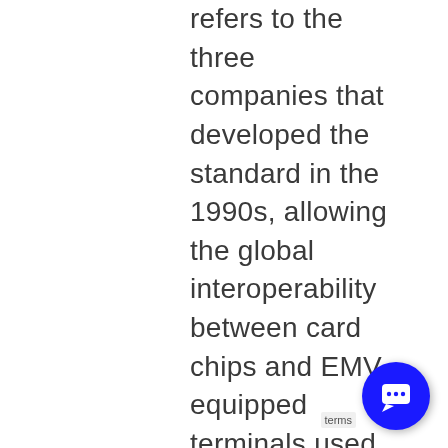refers to the three companies that developed the standard in the 1990s, allowing the global interoperability between card chips and EMV-equipped terminals used by most financial institutions today. EMV specifications are managed by the international technical organization EMVCo, facilitating the standard's international adoption and continued evolution. EMV cards are more secure than the previous generation of magnetic strip cards (See: EMV Card). EMV adoption has nearly suppressed card counterfeiting and significantly reduced fraud risk in card-present or face-to-face transactions. However, the accelerated growth of